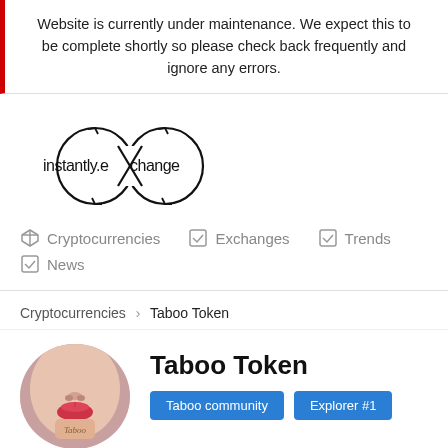Website is currently under maintenance. We expect this to be complete shortly so please check back frequently and ignore any errors.
[Figure (logo): instantly.exchange infinity loop logo]
Cryptocurrencies
Exchanges
Trends
News
Cryptocurrencies › Taboo Token
Taboo Token
Taboo community   Explorer #1